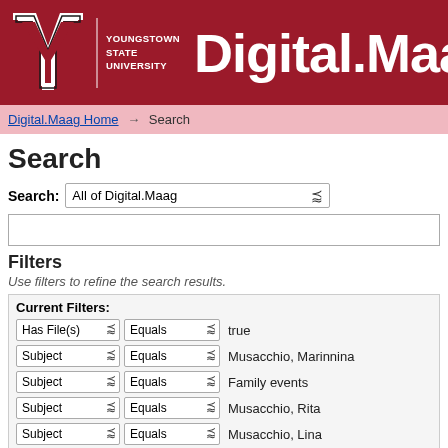[Figure (logo): Youngstown State University logo with Y emblem and Digital.Maag header text on dark red background]
Digital.Maag Home → Search
Search
Search: All of Digital.Maag
Filters
Use filters to refine the search results.
Current Filters:
Has File(s) ∨  Equals ∨  true
Subject ∨  Equals ∨  Musacchio, Marinnina
Subject ∨  Equals ∨  Family events
Subject ∨  Equals ∨  Musacchio, Rita
Subject ∨  Equals ∨  Musacchio, Lina